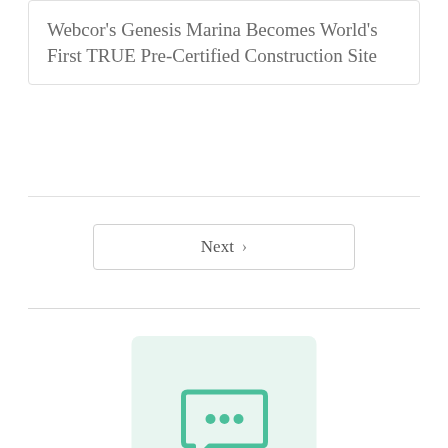Webcor's Genesis Marina Becomes World's First TRUE Pre-Certified Construction Site
Next >
[Figure (illustration): Speech bubble / chat icon with three dots inside, shown in teal/green color on a light mint green square background]